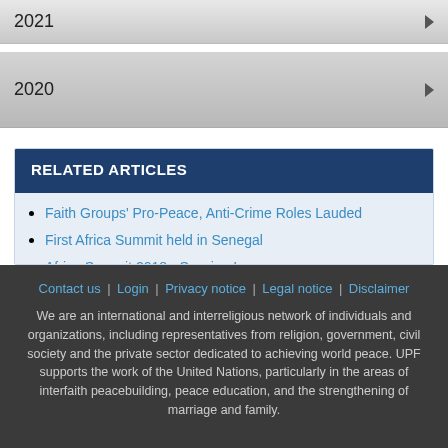2021
2020
RELATED ARTICLES
Faith Groups' Pro-Peace, Anti-Crime Roles Lauded
First Africa Summit held in Senegal
Africa Summit 2018 - Session I
Africa Summit 2018 - Session III
Africa Summit 2018 - Session II
Contact us | Login | Privacy notice | Legal notice | Disclaimer

We are an international and interreligious network of individuals and organizations, including representatives from religion, government, civil society and the private sector dedicated to achieving world peace. UPF supports the work of the United Nations, particularly in the areas of interfaith peacebuilding, peace education, and the strengthening of marriage and family.